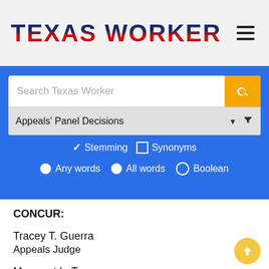[Figure (logo): Texas Worker logo with American flag-styled text]
[Figure (screenshot): Search interface with search bar, dropdown for Appeals Panel Decisions, stemming/synonyms checkboxes, and Any words/All words/Boolean radio buttons]
CONCUR:
Tracey T. Guerra
Appeals Judge
Margaret L. Turner
Appeals Judge